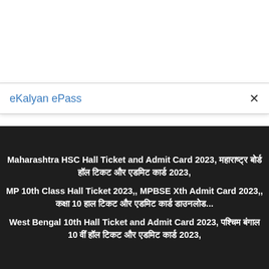eKalyan ePass
Maharashtra HSC Hall Ticket and Admit Card 2023, महाराष्ट्र बोर्ड हॉल टिकट और एडमिट कार्ड 2023,
MP 10th Class Hall Ticket 2023,, MPBSE Xth Admit Card 2023,, कक्षा 10 हाल टिकट और एडमिट कार्ड डाउनलोड...
West Bengal 10th Hall Ticket and Admit Card 2023, पश्चिम बंगाल 10 वीं हॉल टिकट और एडमिट कार्ड 2023,